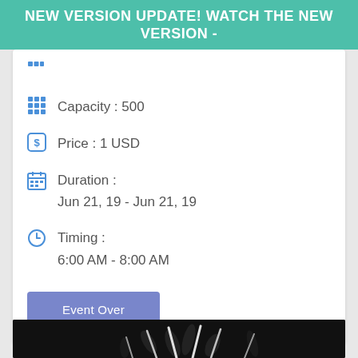NEW VERSION UPDATE! WATCH THE NEW VERSION -
Capacity : 500
Price : 1 USD
Duration :
Jun 21, 19 - Jun 21, 19
Timing :
6:00 AM - 8:00 AM
Event Over
[Figure (photo): Dark background image with silhouettes of people raising their hands/arms, with an orange '1 DAY EVENT' badge in the top right corner.]